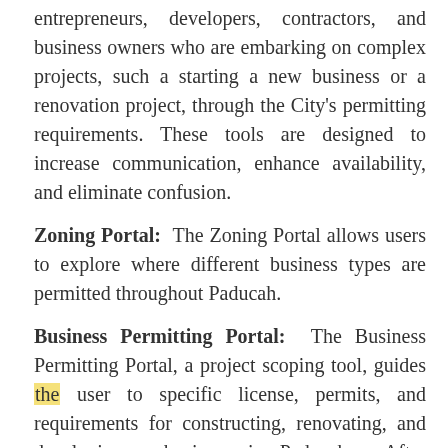entrepreneurs, developers, contractors, and business owners who are embarking on complex projects, such a starting a new business or a renovation project, through the City's permitting requirements. These tools are designed to increase communication, enhance availability, and eliminate confusion.
Zoning Portal: The Zoning Portal allows users to explore where different business types are permitted throughout Paducah.
Business Permitting Portal: The Business Permitting Portal, a project scoping tool, guides the user to specific license, permits, and requirements for constructing, renovating, and developing a business in Paducah. After answering the questions, a summary specific to the project can be downloaded. This summary will include zoning information, permits needed, and a preliminary estimate of permit fees.
The portals also include links to contact City staff,